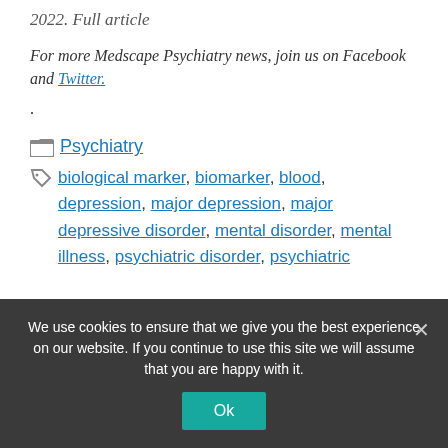2022. Full article
For more Medscape Psychiatry news, join us on Facebook and Twitter.
.
Psychiatry
biological marker, biomarker, blood, depression, major depression, major depressive disorder, mental disorder, mental illness, psychiatric disorder, psychiatric
We use cookies to ensure that we give you the best experience on our website. If you continue to use this site we will assume that you are happy with it.